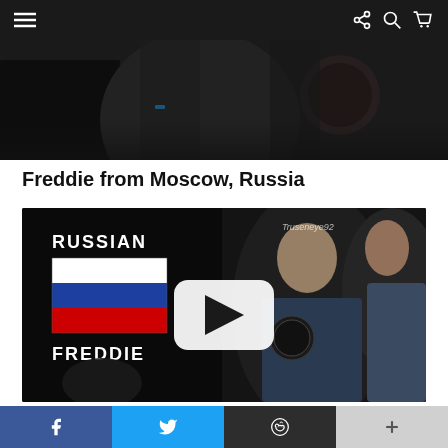Navigation bar with hamburger menu and share/search/cart icons
[Figure (screenshot): Dark screenshot showing a person wearing a uniform with patches, cropped at top of page]
Freddie from Moscow, Russia
[Figure (screenshot): YouTube video thumbnail showing text 'RUSSIAN FREDDIE' with Russian flag, watermark 'Truseneye92', and a YouTube play button overlay. Background shows two characters from a scene.]
Social share buttons: Facebook, Twitter, Reddit, Plus